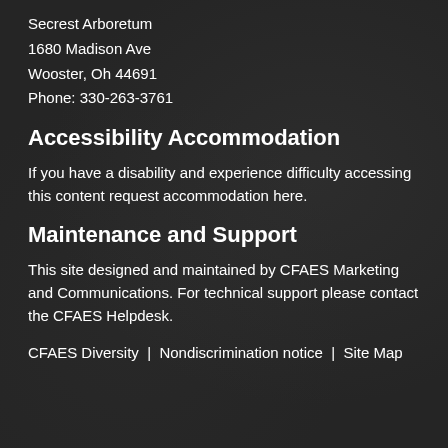Secrest Arboretum
1680 Madison Ave
Wooster, Oh 44691
Phone: 330-263-3761
Accessibility Accommodation
If you have a disability and experience difficulty accessing this content request accommodation here.
Maintenance and Support
This site designed and maintained by CFAES Marketing and Communications. For technical support please contact the CFAES Helpdesk.
CFAES Diversity  |  Nondiscrimination notice  |  Site Map